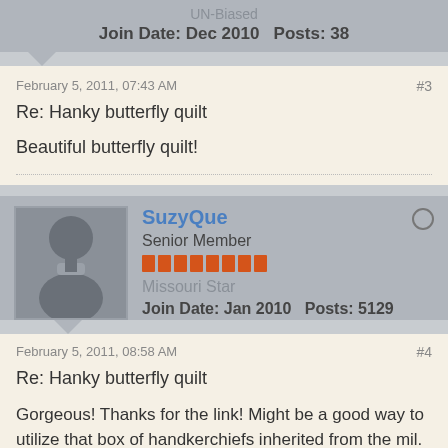UN-Biased
Join Date: Dec 2010   Posts: 38
February 5, 2011, 07:43 AM
#3
Re: Hanky butterfly quilt
Beautiful butterfly quilt!
SuzyQue
Senior Member
Missouri Star
Join Date: Jan 2010   Posts: 5129
February 5, 2011, 08:58 AM
#4
Re: Hanky butterfly quilt
Gorgeous! Thanks for the link! Might be a good way to utilize that box of handkerchiefs inherited from the mil. Even one folded and mounted and framed... hmm... a